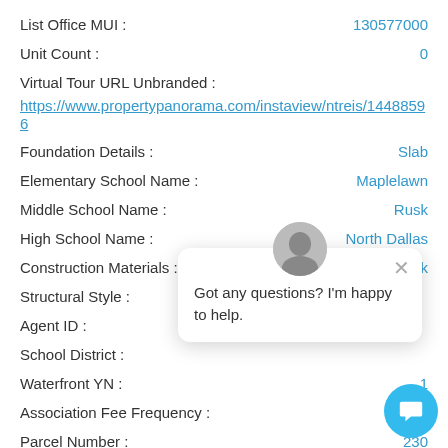List Office MUI : 130577000
Unit Count : 0
Virtual Tour URL Unbranded :
https://www.propertypanorama.com/instaview/ntreis/14488596
Foundation Details : Slab
Elementary School Name : Maplelawn
Middle School Name : Rusk
High School Name : North Dallas
Construction Materials : Brick
Structural Style :
Agent ID :
School District :
Waterfront YN : 1
Association Fee Frequency : Mo
Parcel Number : 230
Office ID : CMPS05
Got any questions? I'm happy to help.